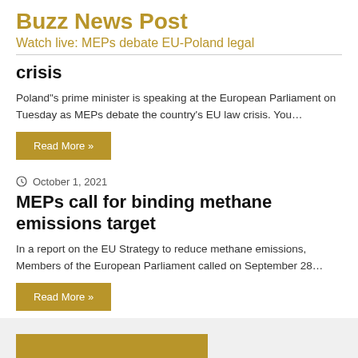Buzz News Post
Watch live: MEPs debate EU-Poland legal crisis
Poland"s prime minister is speaking at the European Parliament on Tuesday as MEPs debate the country's EU law crisis. You…
Read More »
October 1, 2021
MEPs call for binding methane emissions target
In a report on the EU Strategy to reduce methane emissions, Members of the European Parliament called on September 28…
Read More »